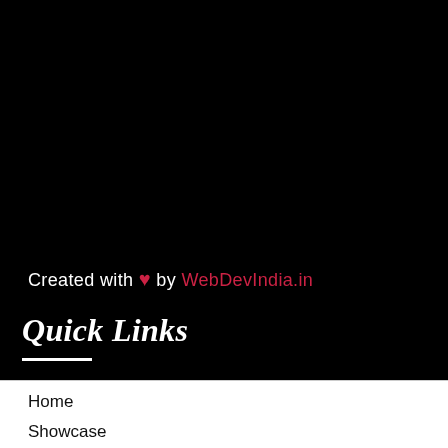Created with ❤ by WebDevIndia.in
Quick Links
Home
Showcase